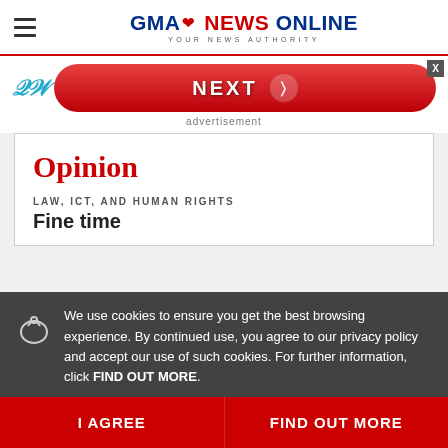GMA NEWS ONLINE — YOUR NEWS AUTHORITY
[Figure (screenshot): NEXT advertisement banner with red rounded button and W logo]
advertisement
Opinion
LAW, ICT, AND HUMAN RIGHTS
Fine time
We use cookies to ensure you get the best browsing experience. By continued use, you agree to our privacy policy and accept our use of such cookies. For further information, click FIND OUT MORE.
LAW, ICT, AND HUMAN RIGHTS
The Qdajas Case and Data Privacy
Hardcore 501